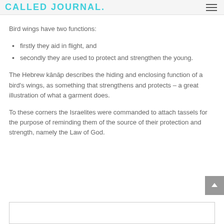CALLED JOURNAL
Bird wings have two functions:
firstly they aid in flight, and
secondly they are used to protect and strengthen the young.
The Hebrew kānāp describes the hiding and enclosing function of a bird's wings, as something that strengthens and protects – a great illustration of what a garment does.
To these corners the Israelites were commanded to attach tassels for the purpose of reminding them of the source of their protection and strength, namely the Law of God.